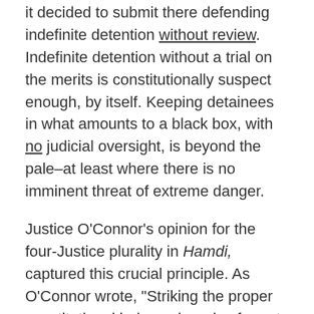it decided to submit there defending indefinite detention without review. Indefinite detention without a trial on the merits is constitutionally suspect enough, by itself. Keeping detainees in what amounts to a black box, with no judicial oversight, is beyond the pale–at least where there is no imminent threat of extreme danger.
Justice O'Connor's opinion for the four-Justice plurality in Hamdi, captured this crucial principle. As O'Connor wrote, "Striking the proper constitutional balance here is of great importance to the nation during this period of ongoing combat. But it is equally vital that our calculus not give short shrift to the values that this country holds dear or to the privilege that is American citizenship."
In contrast, Justice Scalia believes that it is nonsensical to talk about balancing constitutional rights against necessity, or to be willing to abandon some liberties for life. But his view, I believe, is a fundamental